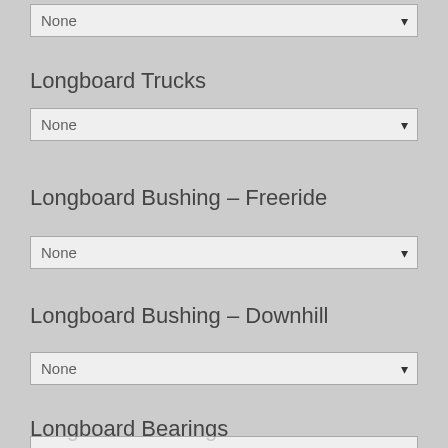None
Longboard Trucks
None
Longboard Bushing – Freeride
None
Longboard Bushing – Downhill
None
Longboard Bearings
None